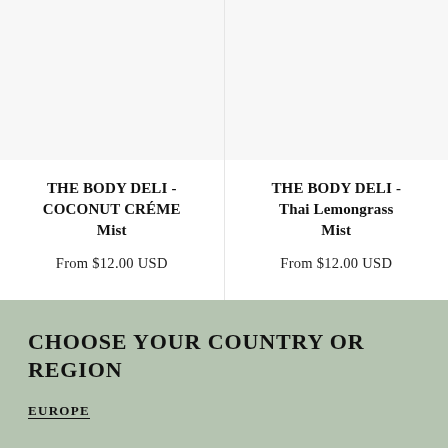THE BODY DELI - COCONUT CRÉME Mist
From $12.00 USD
THE BODY DELI - Thai Lemongrass Mist
From $12.00 USD
CHOOSE YOUR COUNTRY OR REGION
EUROPE